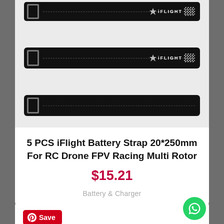[Figure (photo): Three black iFlight battery straps with metal buckles. The top two straps show the iFlight logo and checkered pattern on the right end. The third strap is plain black with no visible logo. Products are displayed on a light gray background.]
5 PCS iFlight Battery Strap 20*250mm For RC Drone FPV Racing Multi Rotor
$15.21
Battery & Charger